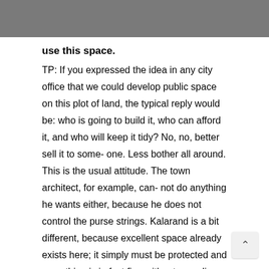use this space.
TP: If you expressed the idea in any city office that we could develop public space on this plot of land, the typical reply would be: who is going to build it, who can afford it, and who will keep it tidy? No, no, better sell it to some- one. Less bother all around. This is the usual attitude. The town architect, for example, can- not do anything he wants either, because he does not control the purse strings. Kalarand is a bit different, because excellent space already exists here; it simply must be protected and everything is in fact fine without spending any money. Protection and development of public space should be the joint aim of both the state and the town.